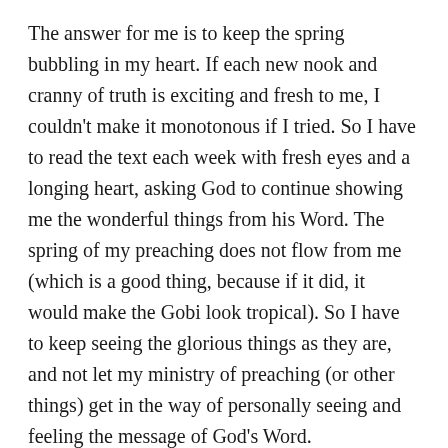The answer for me is to keep the spring bubbling in my heart. If each new nook and cranny of truth is exciting and fresh to me, I couldn't make it monotonous if I tried. So I have to read the text each week with fresh eyes and a longing heart, asking God to continue showing me the wonderful things from his Word. The spring of my preaching does not flow from me (which is a good thing, because if it did, it would make the Gobi look tropical). So I have to keep seeing the glorious things as they are, and not let my ministry of preaching (or other things) get in the way of personally seeing and feeling the message of God's Word.
Besides reading the passage closely and carefully and even devotionally, here are five other things I do to keep the spring bubbling.